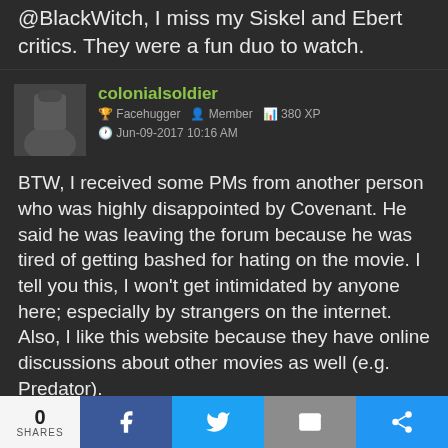@BlackWitch, I miss my Siskel and Ebert critics. They were a fun duo to watch.
colonialsoldier — Facehugger, Member, 380 XP — Jun-09-2017 10:16 AM
BTW, I received some PMs from another person who was highly disappointed by Covenant. He said he was leaving the forum because he was tired of getting bashed for hating on the movie. I tell you this, I won't get intimidated by anyone here; especially by strangers on the internet. Also, I like this website because they have online discussions about other movies as well (e.g. Predator).
Capt Torgo — Facehugger, Member, 176 XP
0 SHARES